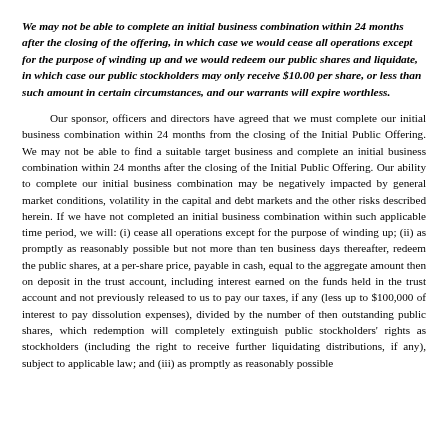We may not be able to complete an initial business combination within 24 months after the closing of the offering, in which case we would cease all operations except for the purpose of winding up and we would redeem our public shares and liquidate, in which case our public stockholders may only receive $10.00 per share, or less than such amount in certain circumstances, and our warrants will expire worthless.
Our sponsor, officers and directors have agreed that we must complete our initial business combination within 24 months from the closing of the Initial Public Offering. We may not be able to find a suitable target business and complete an initial business combination within 24 months after the closing of the Initial Public Offering. Our ability to complete our initial business combination may be negatively impacted by general market conditions, volatility in the capital and debt markets and the other risks described herein. If we have not completed an initial business combination within such applicable time period, we will: (i) cease all operations except for the purpose of winding up; (ii) as promptly as reasonably possible but not more than ten business days thereafter, redeem the public shares, at a per-share price, payable in cash, equal to the aggregate amount then on deposit in the trust account, including interest earned on the funds held in the trust account and not previously released to us to pay our taxes, if any (less up to $100,000 of interest to pay dissolution expenses), divided by the number of then outstanding public shares, which redemption will completely extinguish public stockholders' rights as stockholders (including the right to receive further liquidating distributions, if any), subject to applicable law; and (iii) as promptly as reasonably possible